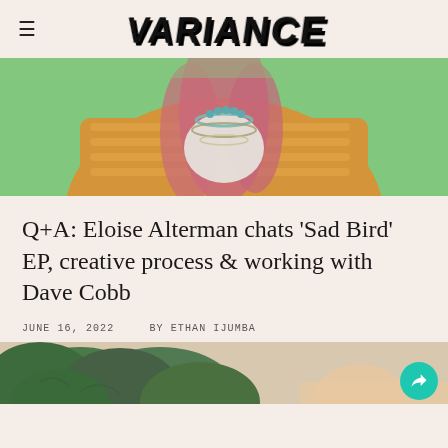VARIANCE
[Figure (photo): Person wearing an orange/gold quilted jacket and pink scarf with layered necklaces, photographed against a green background, cropped to show torso/neck area only]
Q+A: Eloise Alterman chats 'Sad Bird' EP, creative process & working with Dave Cobb
JUNE 16, 2022    BY ETHAN IJUMBA
[Figure (photo): Bottom portion of a photo showing green tropical leaves/plants, partially visible]